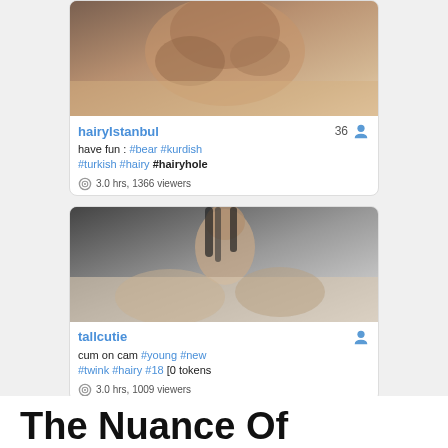[Figure (photo): Thumbnail image for hairyIstanbul stream - skin-toned close up]
hairyIstanbul  36
have fun : #bear #kurdish #turkish #hairy #hairyhole
3.0 hrs, 1366 viewers
[Figure (photo): Thumbnail image for tallcutie stream - person on bed]
tallcutie
cum on cam #young #new #twink #hairy #18 [0 tokens
3.0 hrs, 1009 viewers
[Figure (photo): Thumbnail image showing people in a living room with plant decor]
The Nuance Of